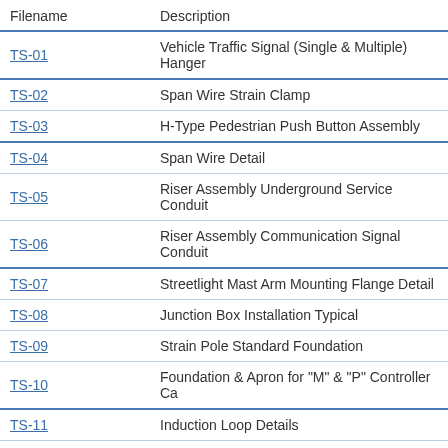| Filename | Description |
| --- | --- |
| TS-01 | Vehicle Traffic Signal (Single & Multiple) Hanger |
| TS-02 | Span Wire Strain Clamp |
| TS-03 | H-Type Pedestrian Push Button Assembly |
| TS-04 | Span Wire Detail |
| TS-05 | Riser Assembly Underground Service Conduit |
| TS-06 | Riser Assembly Communication Signal Conduit |
| TS-07 | Streetlight Mast Arm Mounting Flange Detail |
| TS-08 | Junction Box Installation Typical |
| TS-09 | Strain Pole Standard Foundation |
| TS-10 | Foundation & Apron for "M" & "P" Controller Ca |
| TS-11 | Induction Loop Details |
| TS-12 | Pedestrian Signal Clamshell Pole Mounting Deta |